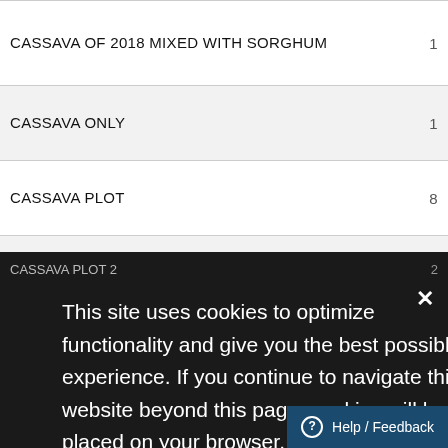CASSAVA OF 2018 MIXED WITH SORGHUM
CASSAVA ONLY
CASSAVA PLOT
CASSAVA PLOT 1
CASSAVA PLOT 2
CASSAVA PLOT A
CASSAVA PLOT B
CASSAVA THAT WAS PLANTED IN 2018
This site uses cookies to optimize functionality and give you the best possible experience. If you continue to navigate this website beyond this page, cookies will be placed on your browser. To learn more about cookies, click here.